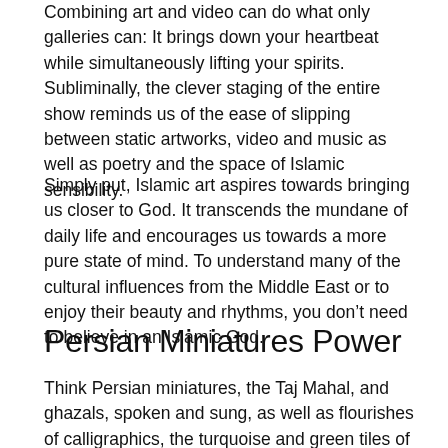Combining art and video can do what only galleries can: It brings down your heartbeat while simultaneously lifting your spirits. Subliminally, the clever staging of the entire show reminds us of the ease of slipping between static artworks, video and music as well as poetry and the space of Islamic sensibility.
Simply put, Islamic art aspires towards bringing us closer to God. It transcends the mundane of daily life and encourages us towards a more pure state of mind. To understand many of the cultural influences from the Middle East or to enjoy their beauty and rhythms, you don't need to believe in an Islamic God.
Persian Miniatures Power
Think Persian miniatures, the Taj Mahal, and ghazals, spoken and sung, as well as flourishes of calligraphics, the turquoise and green tiles of Isfahan, and the amazing spaces of the Haggia Sophia, Istanbul. It's in colours that float in the air at